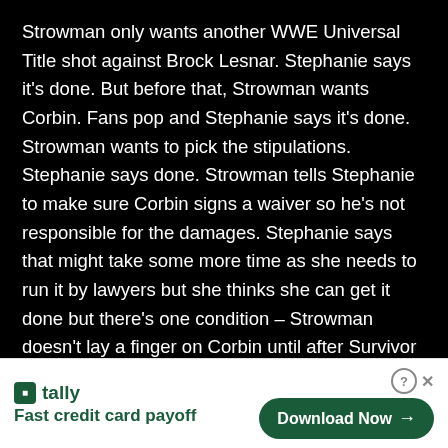Strowman only wants another WWE Universal Title shot against Brock Lesnar. Stephanie says it's done. But before that, Strowman wants Corbin. Fans pop and Stephanie says it's done. Strowman wants to pick the stipulations. Stephanie says done. Strowman tells Stephanie to make sure Corbin signs a waiver so he's not responsible for the damages. Stephanie says that might take some more time as she needs to run it by lawyers but she thinks she can get it done but there's one condition – Strowman doesn't lay a finger on Corbin until after Survivor Series so he can prove he's a team player. He can have whatever he wants after Survivor Series. Strowman says he will go to WWE HQ and destroy the whole building if he doesn't get what he's promised. Stephanie goes on about how she's here to
[Figure (other): Advertisement banner for Tally app — 'Fast credit card payoff' with a 'Download Now' button]